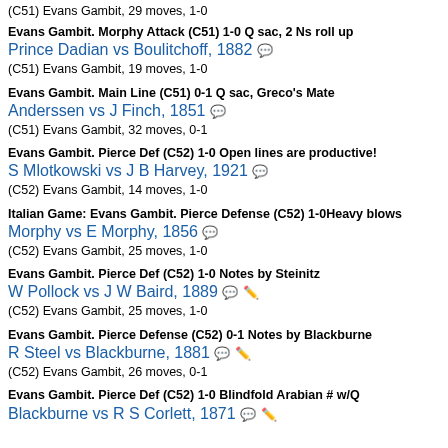(C51) Evans Gambit, 29 moves, 1-0
Evans Gambit. Morphy Attack (C51) 1-0 Q sac, 2 Ns roll up
Prince Dadian vs Boulitchoff, 1882
(C51) Evans Gambit, 19 moves, 1-0
Evans Gambit. Main Line (C51) 0-1 Q sac, Greco's Mate
Anderssen vs J Finch, 1851
(C51) Evans Gambit, 32 moves, 0-1
Evans Gambit. Pierce Def (C52) 1-0 Open lines are productive!
S Mlotkowski vs J B Harvey, 1921
(C52) Evans Gambit, 14 moves, 1-0
Italian Game: Evans Gambit. Pierce Defense (C52) 1-0 Heavy blows
Morphy vs E Morphy, 1856
(C52) Evans Gambit, 25 moves, 1-0
Evans Gambit. Pierce Def (C52) 1-0 Notes by Steinitz
W Pollock vs J W Baird, 1889
(C52) Evans Gambit, 25 moves, 1-0
Evans Gambit. Pierce Defense (C52) 0-1 Notes by Blackburne
R Steel vs Blackburne, 1881
(C52) Evans Gambit, 26 moves, 0-1
Evans Gambit. Pierce Def (C52) 1-0 Blindfold Arabian # w/Q
Blackburne vs R S Corlett, 1871